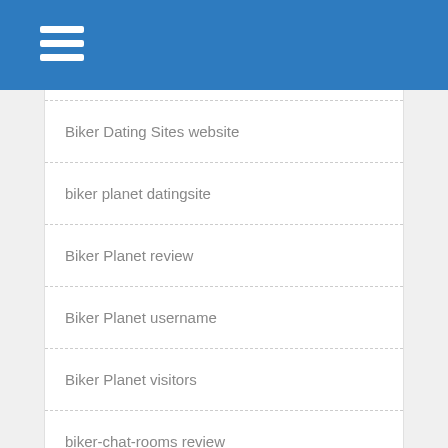Biker Dating Sites website
biker planet datingsite
Biker Planet review
Biker Planet username
Biker Planet visitors
biker-chat-rooms review